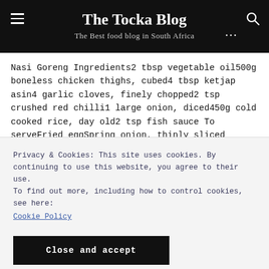The Tocka Blog — The Best food blog in South Africa
Nasi Goreng Ingredients2 tbsp vegetable oil500g boneless chicken thighs, cubed4 tbsp ketjap asin4 garlic cloves, finely chopped2 tsp crushed red chilli1 large onion, diced450g cold cooked rice, day old2 tsp fish sauce To serveFried eggSpring onion, thinly sliced MethodHeat oil in a large pan over high heat Add onion, garlic, and red chilli and cook for [...]
Privacy & Cookies: This site uses cookies. By continuing to use this website, you agree to their use.
To find out more, including how to control cookies, see here:
Cookie Policy
Close and accept
[Figure (photo): Food photograph at bottom of page, showing a dish with reddish-orange sauce]